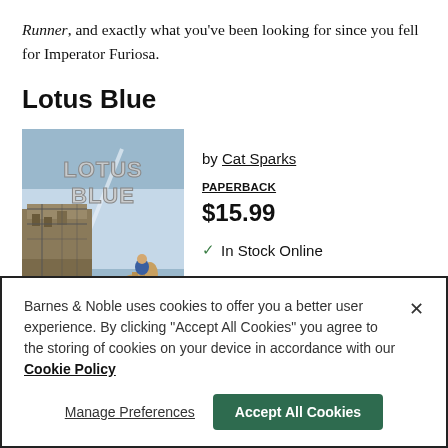Runner, and exactly what you've been looking for since you fell for Imperator Furiosa.
Lotus Blue
[Figure (illustration): Book cover of 'Lotus Blue' showing large metallic letters spelling LOTUS BLUE with a post-apocalyptic scene featuring a person on a camel and industrial structures against a sky background.]
by Cat Sparks
PAPERBACK
$15.99
✓ In Stock Online
Barnes & Noble uses cookies to offer you a better user experience. By clicking "Accept All Cookies" you agree to the storing of cookies on your device in accordance with our Cookie Policy